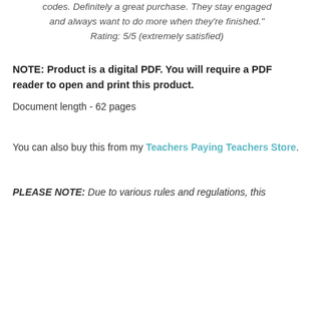laminated them and they love working in pairs to crack the codes. Definitely a great purchase. They stay engaged and always want to do more when they're finished." Rating: 5/5 (extremely satisfied)
NOTE: Product is a digital PDF. You will require a PDF reader to open and print this product.
Document length - 62 pages
You can also buy this from my Teachers Paying Teachers Store.
PLEASE NOTE: Due to various rules and regulations, this